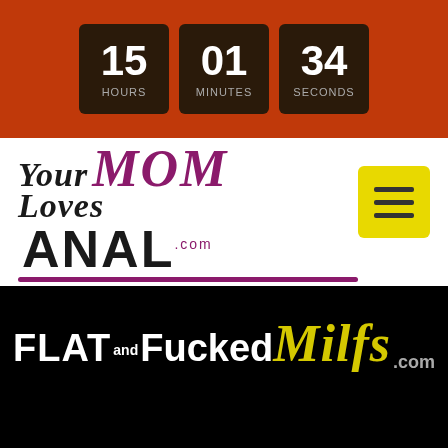[Figure (screenshot): Countdown timer showing 15 hours, 01 minutes, 34 seconds on a red-orange background]
[Figure (logo): YourMomLovesAnal.com website logo with navigation menu button]
[Figure (logo): FlatandFuckedMilfs.com logo on black background]
WHAT'S THAT ABOUT GIRLS WH... 24 Mins
Suz Aug 29
★ 4.8/5 Stars   👁 3K+